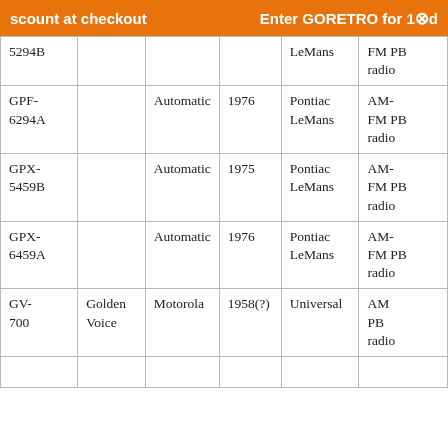scount at checkout   Enter GORETRO for 10% d
| Model | Name | Maker | Year | Car | Radio |
| --- | --- | --- | --- | --- | --- |
| 5294B |  |  |  | LeMans | FM PB radio |
| GPF-6294A |  | Automatic | 1976 | Pontiac LeMans | AM-FM PB radio |
| GPX-5459B |  | Automatic | 1975 | Pontiac LeMans | AM-FM PB radio |
| GPX-6459A |  | Automatic | 1976 | Pontiac LeMans | AM-FM PB radio |
| GV-700 | Golden Voice | Motorola | 1958(?) | Universal | AM PB radio |